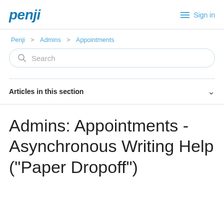penji   Sign in
Penji > Admins > Appointments
Search
Articles in this section
Admins: Appointments - Asynchronous Writing Help ("Paper Dropoff")